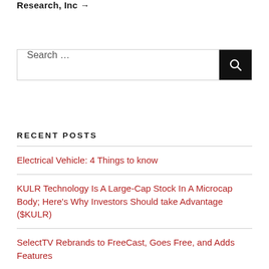Research, Inc →
Search …
RECENT POSTS
Electrical Vehicle: 4 Things to know
KULR Technology Is A Large-Cap Stock In A Microcap Body; Here's Why Investors Should take Advantage ($KULR)
SelectTV Rebrands to FreeCast, Goes Free, and Adds Features